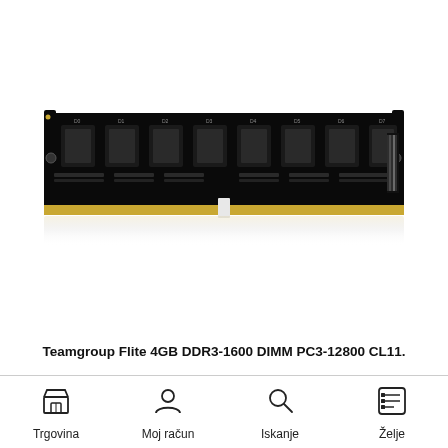[Figure (photo): Teamgroup Flite 4GB DDR3-1600 DIMM PC3-12800 CL11 RAM memory module with black PCB and gold contacts, shown with reflection below]
Teamgroup Flite 4GB DDR3-1600 DIMM PC3-12800 CL11.
Trgovina  Moj račun  Iskanje  Želje